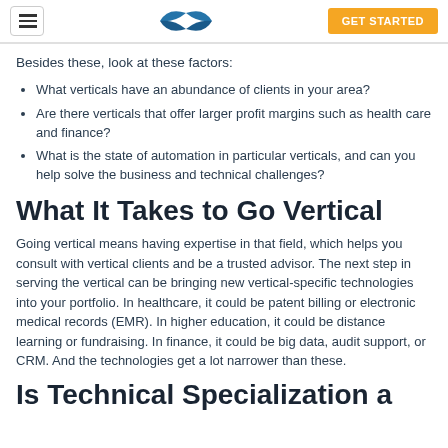GET STARTED
Besides these, look at these factors:
What verticals have an abundance of clients in your area?
Are there verticals that offer larger profit margins such as health care and finance?
What is the state of automation in particular verticals, and can you help solve the business and technical challenges?
What It Takes to Go Vertical
Going vertical means having expertise in that field, which helps you consult with vertical clients and be a trusted advisor. The next step in serving the vertical can be bringing new vertical-specific technologies into your portfolio. In healthcare, it could be patent billing or electronic medical records (EMR). In higher education, it could be distance learning or fundraising. In finance, it could be big data, audit support, or CRM. And the technologies get a lot narrower than these.
Is Technical Specialization a